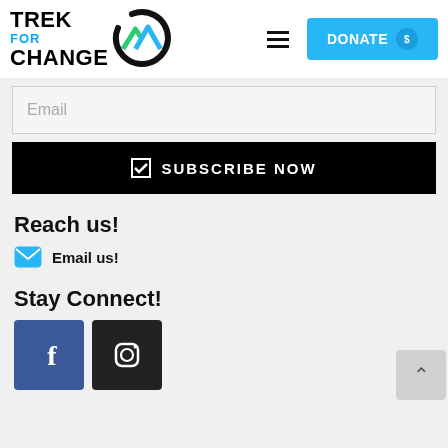[Figure (logo): Trek For Change logo with mountain icon]
Email
☑ SUBSCRIBE NOW
Reach us!
Email us!
Stay Connect!
[Figure (logo): Facebook icon]
[Figure (logo): Instagram icon]